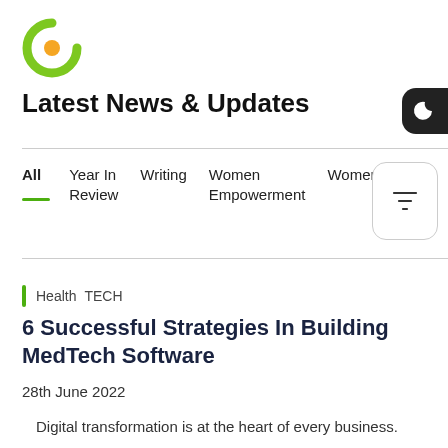[Figure (logo): Green and orange circular logo resembling the letter C]
Latest News & Updates
[Figure (other): Dark mode toggle button (crescent moon icon)]
All
Year In Review
Writing
Women Empowerment
Women
[Figure (other): Filter icon button with rounded rectangle border]
Health  TECH
6 Successful Strategies In Building MedTech Software
28th June 2022
Digital transformation is at the heart of every business.